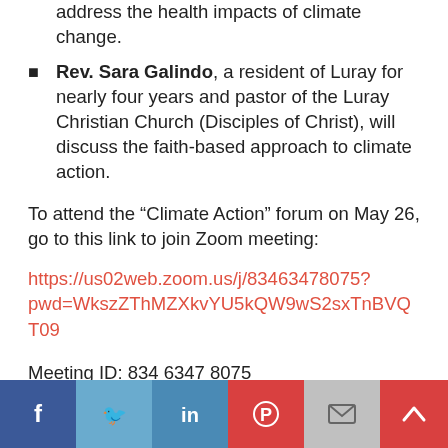address the health impacts of climate change.
Rev. Sara Galindo, a resident of Luray for nearly four years and pastor of the Luray Christian Church (Disciples of Christ), will discuss the faith-based approach to climate action.
To attend the “Climate Action” forum on May 26, go to this link to join Zoom meeting:
https://us02web.zoom.us/j/83463478075?pwd=WkszZThMZXkvYU5kQW9wS2sxTnBVQT09
Meeting ID: 834 6347 8075
Password: 414988